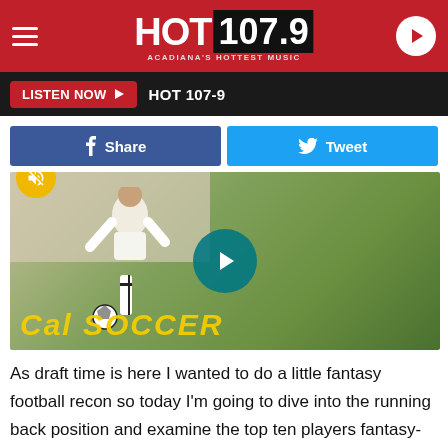[Figure (logo): HOT 107.9 radio station logo on red header bar with hamburger menu and play button]
LISTEN NOW ▶  HOT 107-9
[Figure (other): Facebook Share button and Twitter Tweet button in social media bar]
[Figure (photo): Soccer player in white uniform running with ball on green field, with yellow Cal Soccer text in background and teal play button overlay]
As draft time is here I wanted to do a little fantasy football recon so today I'm going to dive into the running back position and examine the top ten players fantasy-wise heading into 2020.